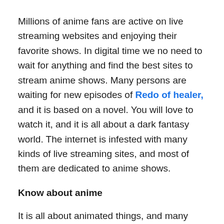Millions of anime fans are active on live streaming websites and enjoying their favorite shows. In digital time we no need to wait for anything and find the best sites to stream anime shows. Many persons are waiting for new episodes of Redo of healer, and it is based on a novel. You will love to watch it, and it is all about a dark fantasy world. The internet is infested with many kinds of live streaming sites, and most of them are dedicated to anime shows.
Know about anime
It is all about animated things, and many kinds of cartoon heroes are available. Most of us are familiar with Spiderman, superman, batman, and more heroes, so they all are part of an animation. The anime shows are connected to Japanese industries, so we will get